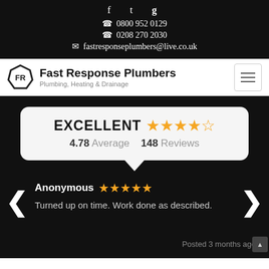f  t  g+  ☎ 0800 952 0129  ☎ 0208 270 2030  ✉ fastresponseplumbers@live.co.uk
Fast Response Plumbers — Plumbing, Heating & Drainage
[Figure (infographic): Review widget showing EXCELLENT rating with 4 and a half stars, 4.78 Average, 148 Reviews, and a review from Anonymous with 4 stars saying 'Turned up on time. Work done as described.' Posted 3 months ago.]